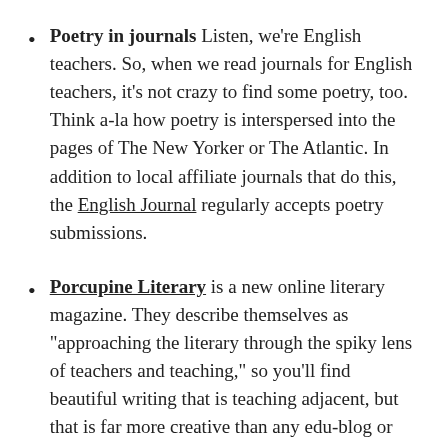Poetry in journals Listen, we're English teachers. So, when we read journals for English teachers, it's not crazy to find some poetry, too. Think a-la how poetry is interspersed into the pages of The New Yorker or The Atlantic. In addition to local affiliate journals that do this, the English Journal regularly accepts poetry submissions.
Porcupine Literary is a new online literary magazine. They describe themselves as "approaching the literary through the spiky lens of teachers and teaching," so you'll find beautiful writing that is teaching adjacent, but that is far more creative than any edu-blog or journal. Their first issue dropped in February, and off, it is even